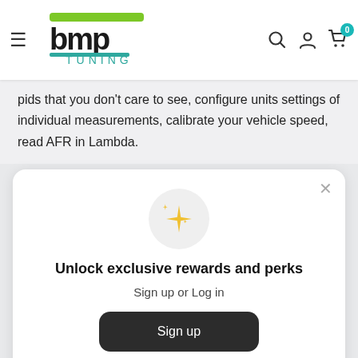[Figure (logo): BMP Tuning logo with green and black stylized text and navigation bar with hamburger menu, search, account, and cart icons]
pids that you don't care to see, configure units settings of individual measurements, calibrate your vehicle speed, read AFR in Lambda.
[Figure (other): Modal popup with sparkle star icon, title 'Unlock exclusive rewards and perks', subtitle 'Sign up or Log in', a dark Sign up button, and 'Already have an account? Sign in' link]